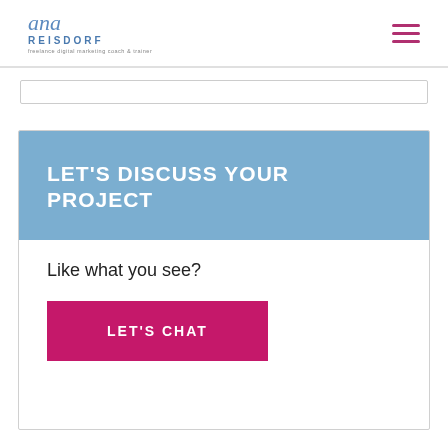ana REISDORF
[Figure (screenshot): Input/search bar below the navigation header]
LET'S DISCUSS YOUR PROJECT
Like what you see?
LET'S CHAT